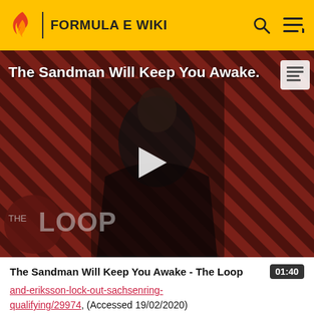FORMULA E WIKI
[Figure (screenshot): Video thumbnail for 'The Sandman Will Keep You Awake - The Loop' showing a dark figure against a red diagonal stripe background with a play button overlay and 'THE LOOP' watermark]
The Sandman Will Keep You Awake - The Loop 01:40
and-eriksson-lock-out-sachsenring-qualifying/29974, (Accessed 19/02/2020)
9. ↑ Gruz David, 'Dienst wraps up ADAC F4 title in